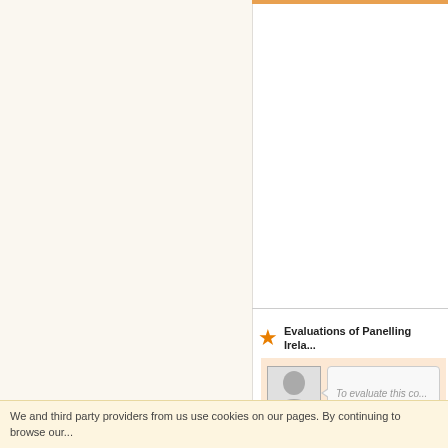[Figure (screenshot): Website interface showing two-column layout: left beige/cream column and right white column with orange top bar accent]
Evaluations of Panelling Irela...
[Figure (screenshot): Review input area with avatar placeholder and italic text 'To evaluate this co...']
We and third party providers from us use cookies on our pages. By continuing to browse our...